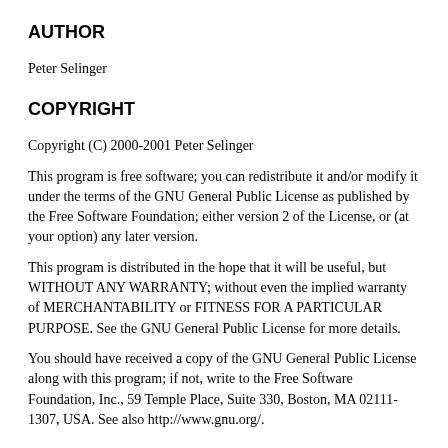AUTHOR
Peter Selinger
COPYRIGHT
Copyright (C) 2000-2001 Peter Selinger
This program is free software; you can redistribute it and/or modify it under the terms of the GNU General Public License as published by the Free Software Foundation; either version 2 of the License, or (at your option) any later version.
This program is distributed in the hope that it will be useful, but WITHOUT ANY WARRANTY; without even the implied warranty of MERCHANTABILITY or FITNESS FOR A PARTICULAR PURPOSE. See the GNU General Public License for more details.
You should have received a copy of the GNU General Public License along with this program; if not, write to the Free Software Foundation, Inc., 59 Temple Place, Suite 330, Boston, MA 02111-1307, USA. See also http://www.gnu.org/.